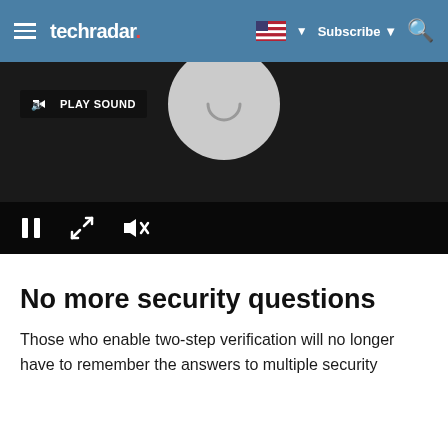techradar | Subscribe
[Figure (screenshot): A video player with a dark/black background. A 'PLAY SOUND' button is visible in the top-left of the player. A circular gray loading/pause icon is in the top-center. Controls bar at the bottom shows a pause button, expand arrows, and a mute button.]
No more security questions
Those who enable two-step verification will no longer have to remember the answers to multiple security questions in order to access their accounts.